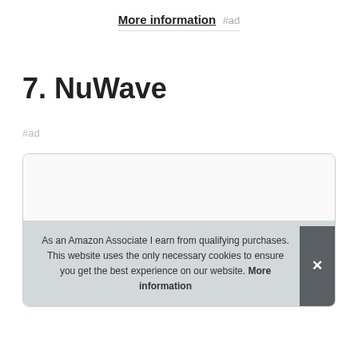More information #ad
7. NuWave
#ad
[Figure (screenshot): Product card box with cookie consent overlay. The overlay reads: As an Amazon Associate I earn from qualifying purchases. This website uses the only necessary cookies to ensure you get the best experience on our website. More information. A dark close button with an X is on the right side.]